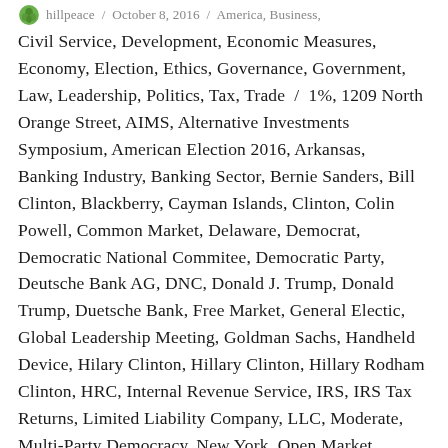hillpeace / October 8, 2016 / America, Business, Civil Service, Development, Economic Measures, Economy, Election, Ethics, Governance, Government, Law, Leadership, Politics, Tax, Trade
1%, 1209 North Orange Street, AIMS, Alternative Investments Symposium, American Election 2016, Arkansas, Banking Industry, Banking Sector, Bernie Sanders, Bill Clinton, Blackberry, Cayman Islands, Clinton, Colin Powell, Common Market, Delaware, Democrat, Democratic National Commitee, Democratic Party, Deutsche Bank AG, DNC, Donald J. Trump, Donald Trump, Duetsche Bank, Free Market, General Electic, Global Leadership Meeting, Goldman Sachs, Handheld Device, Hilary Clinton, Hillary Clinton, Hillary Rodham Clinton, HRC, Internal Revenue Service, IRS, IRS Tax Returns, Limited Liability Company, LLC, Moderate, Multi-Party Democracy, New York, Open Market, Regulation, Republican, Secretary of State, Smart Phones, Speaking Engagement, Speaking Engagements, State Department, Tax, Tax Avoidance, Taxation, The 1%, TPP, Trade Regulation, Trans-Pacific Partnership, Trump, Two-Party System, U.S. State Department, Ugland House, United